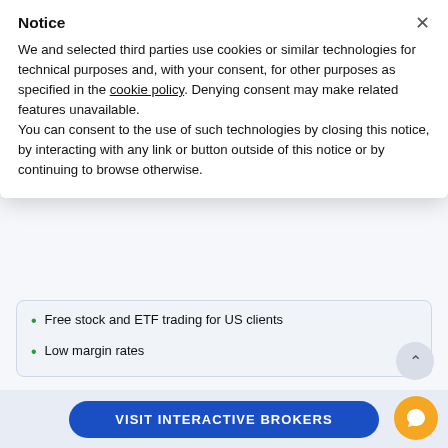Interactive Brokers has low trading fees and the best margin rates in the industry. For US clients, stock and ETF trading is
Notice
We and selected third parties use cookies or similar technologies for technical purposes and, with your consent, for other purposes as specified in the cookie policy. Denying consent may make related features unavailable.
You can consent to the use of such technologies by closing this notice, by interacting with any link or button outside of this notice or by continuing to browse otherwise.
Free stock and ETF trading for US clients
Low margin rates
VISIT BROKER
MORE
VISIT INTERACTIVE BROKERS